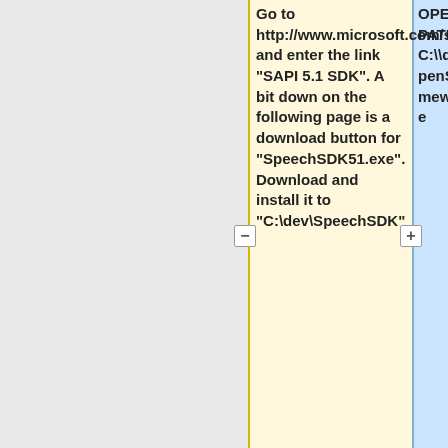Go to http://www.microsoft.com/speech/speech2007/downloads.mspx and enter the link "SAPI 5.1 SDK". A bit down on the following page is a download button for "SpeechSDK51.exe". Download and install it to "C:\dev\SpeechSDK"
OPENSSL_PATH = C:\\dev\MyOpenSSLIsSomewhereElse